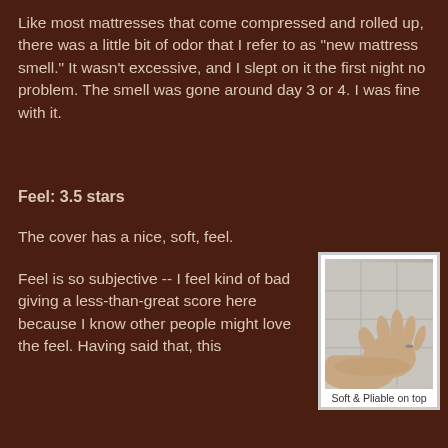Like most mattresses that come compressed and rolled up, there was a little bit of odor that I refer to as "new mattress smell." It wasn't excessive, and I slept on it the first night no problem. The smell was gone around day 3 or 4. I was fine with it.
Feel: 3.5 stars
The cover has a nice, soft, feel.
Feel is so subjective -- I feel kind of bad giving a less-than-great score here because I know other people might love the feel. Having said that, this
[Figure (photo): A hand pressing down on a white quilted mattress surface, showing the soft and pliable texture of the top layer.]
Soft & Pliable on top